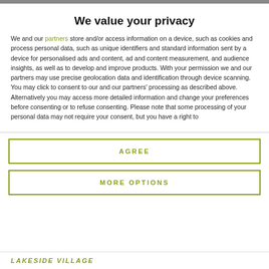We value your privacy
We and our partners store and/or access information on a device, such as cookies and process personal data, such as unique identifiers and standard information sent by a device for personalised ads and content, ad and content measurement, and audience insights, as well as to develop and improve products. With your permission we and our partners may use precise geolocation data and identification through device scanning. You may click to consent to our and our partners' processing as described above. Alternatively you may access more detailed information and change your preferences before consenting or to refuse consenting. Please note that some processing of your personal data may not require your consent, but you have a right to
AGREE
MORE OPTIONS
LAKESIDE VILLAGE